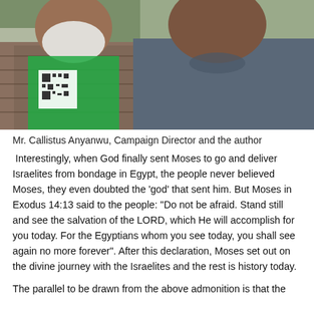[Figure (photo): Two men posing together. The man on the left has a white beard, wears a plaid shirt and a green scarf/sash with a QR code on it. The man on the right wears a plain blue/grey shirt. The background shows trees and a wall.]
Mr. Callistus Anyanwu, Campaign Director and the author
Interestingly, when God finally sent Moses to go and deliver Israelites from bondage in Egypt, the people never believed Moses, they even doubted the ‘god’ that sent him. But Moses in Exodus 14:13 said to the people: “Do not be afraid. Stand still and see the salvation of the LORD, which He will accomplish for you today. For the Egyptians whom you see today, you shall see again no more forever”. After this declaration, Moses set out on the divine journey with the Israelites and the rest is history today.
The parallel to be drawn from the above admonition is that the